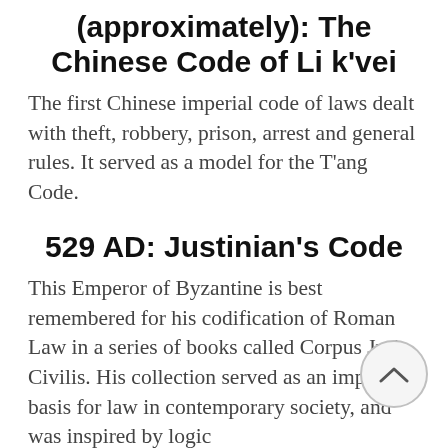(approximately): The Chinese Code of Li k'vei
The first Chinese imperial code of laws dealt with theft, robbery, prison, arrest and general rules. It served as a model for the T'ang Code.
529 AD: Justinian's Code
This Emperor of Byzantine is best remembered for his codification of Roman Law in a series of books called Corpus Juris Civilis. His collection served as an important basis for law in contemporary society, and was inspired by logic